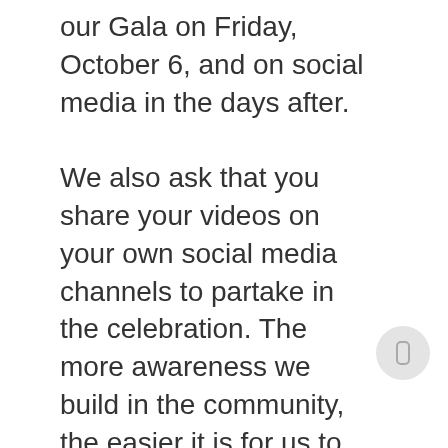our Gala on Friday, October 6, and on social media in the days after.

We also ask that you share your videos on your own social media channels to partake in the celebration. The more awareness we build in the community, the easier it is for us to react to the many changes the future holds for our House. Be sure follow us closely on Facebook this year as we continue to celebrate our